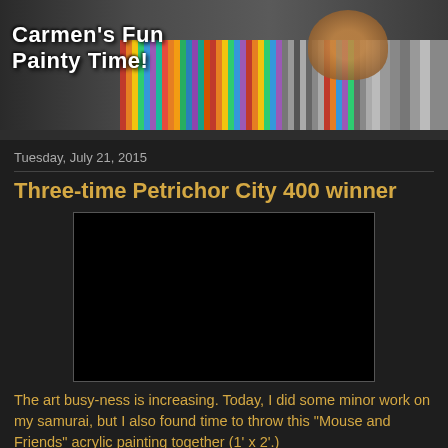[Figure (photo): Header banner for 'Carmen's Fun Painty Time!' blog showing paint bottles and a person peeking over them]
Tuesday, July 21, 2015
Three-time Petrichor City 400 winner
[Figure (screenshot): Embedded video player showing a black/dark screen]
The art busy-ness is increasing. Today, I did some minor work on my samurai, but I also found time to throw this "Mouse and Friends" acrylic painting together (1' x 2'.)